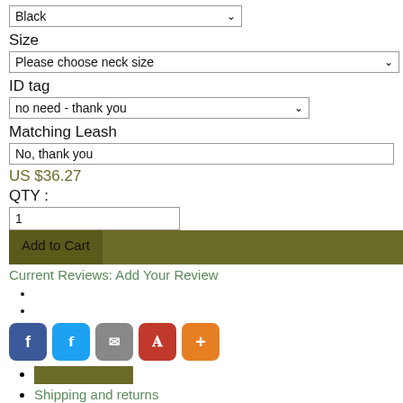[Figure (screenshot): Dropdown selector showing 'Black' with arrow, bordered select box]
Size
[Figure (screenshot): Dropdown selector: 'Please choose neck size' with arrow]
ID tag
[Figure (screenshot): Dropdown selector: 'no need - thank you' with arrow]
Matching Leash
[Figure (screenshot): Text input/select showing 'No, thank you']
US $36.27
QTY :
[Figure (screenshot): Text input box with value '1']
[Figure (screenshot): Add to Cart button with olive/dark green bar]
Current Reviews: Add Your Review
[Figure (screenshot): Social share buttons: Facebook (blue), Twitter (light blue), Email (gray), Pinterest (red), Plus (orange)]
[highlighted olive box]
Shipping and returns
Reviews
Top-of-the-line 1 1/4 inch (30 mm) Wide